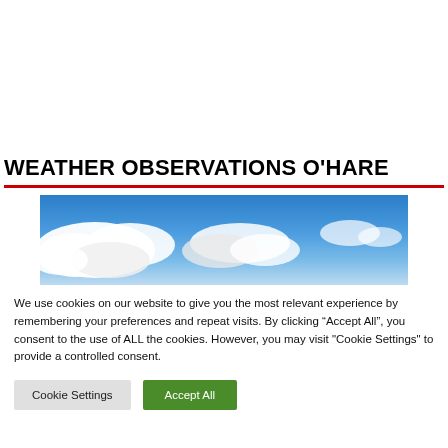WEATHER OBSERVATIONS O'HARE
[Figure (photo): Sky photo showing blue sky with white clouds, partial view from below]
We use cookies on our website to give you the most relevant experience by remembering your preferences and repeat visits. By clicking “Accept All”, you consent to the use of ALL the cookies. However, you may visit "Cookie Settings" to provide a controlled consent.
Cookie Settings | Accept All